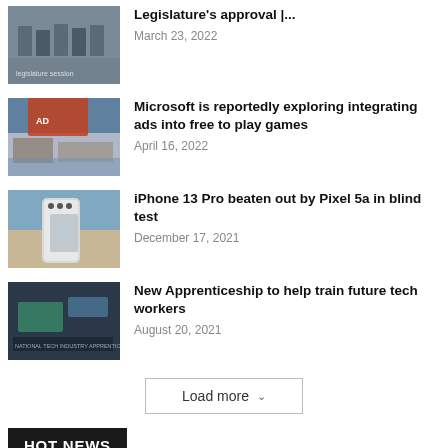Legislature's approval |...
March 23, 2022
Microsoft is reportedly exploring integrating ads into free to play games
April 16, 2022
iPhone 13 Pro beaten out by Pixel 5a in blind test
December 17, 2021
New Apprenticeship to help train future tech workers
August 20, 2021
Load more
HOT NEWS